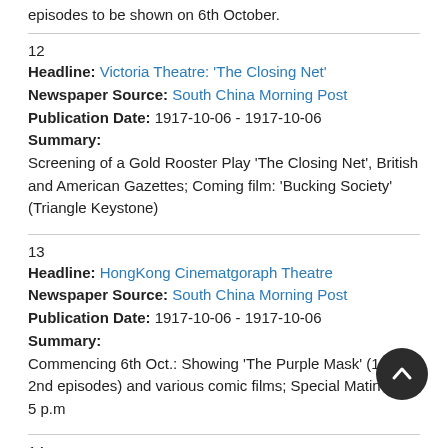episodes to be shown on 6th October.
12
Headline: Victoria Theatre: 'The Closing Net'
Newspaper Source: South China Morning Post
Publication Date: 1917-10-06 - 1917-10-06
Summary:
Screening of a Gold Rooster Play 'The Closing Net', British and American Gazettes; Coming film: 'Bucking Society' (Triangle Keystone)
13
Headline: HongKong Cinematgoraph Theatre
Newspaper Source: South China Morning Post
Publication Date: 1917-10-06 - 1917-10-06
Summary:
Commencing 6th Oct.: Showing 'The Purple Mask' (1st & 2nd episodes) and various comic films; Special Matinee at 5 p.m
14